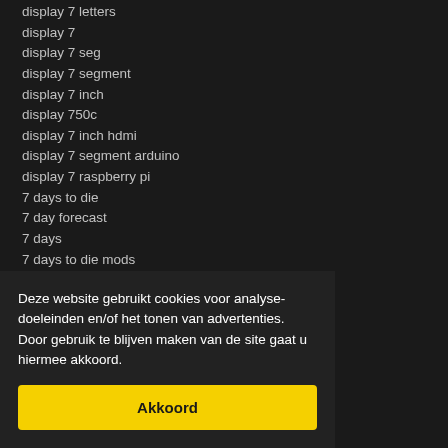display 7 letters
display 7
display 7 seg
display 7 segment
display 7 inch
display 750c
display 7 inch hdmi
display 7 segment arduino
display 7 raspberry pi
7 days to die
7 day forecast
7 days
7 days to die mods
7 day weather forecast
7 day adventist
7 days in hell
7 days to die console update
7 days to die map
Deze website gebruikt cookies voor analyse-doeleinden en/of het tonen van advertenties. Door gebruik te blijven maken van de site gaat u hiermee akkoord.
Akkoord